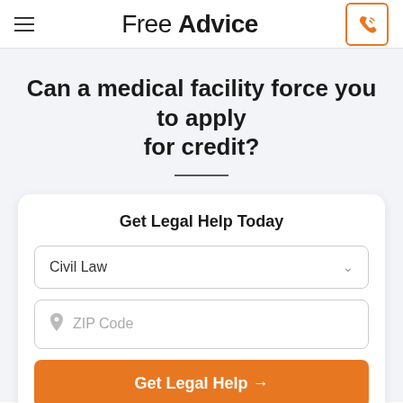Free Advice
Can a medical facility force you to apply for credit?
Get Legal Help Today
Civil Law
ZIP Code
Get Legal Help →